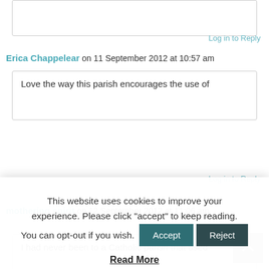Log in to Reply
Erica Chappelear on 11 September 2012 at 10:57 am
Love the way this parish encourages the use of
This website uses cookies to improve your experience. Please click "accept" to keep reading. You can opt-out if you wish. Accept Reject Read More
Log in to Reply
mothering spirit on 12 September 2012 at 11:06 am
I had never been to a Catholic parish that used